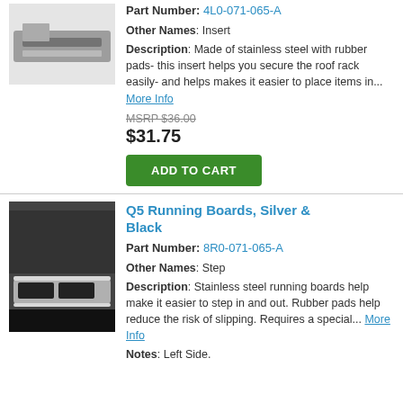[Figure (photo): Photo of a roof rack insert, black and silver on white background]
Part Number: 4L0-071-065-A
Other Names: Insert
Description: Made of stainless steel with rubber pads- this insert helps you secure the roof rack easily- and helps makes it easier to place items in... More Info
MSRP $36.00
$31.75
ADD TO CART
Q5 Running Boards, Silver & Black
Part Number: 8R0-071-065-A
[Figure (photo): Photo of Q5 running boards, silver and black, mounted on vehicle door sill]
Other Names: Step
Description: Stainless steel running boards help make it easier to step in and out. Rubber pads help reduce the risk of slipping. Requires a special... More Info
Notes: Left Side.